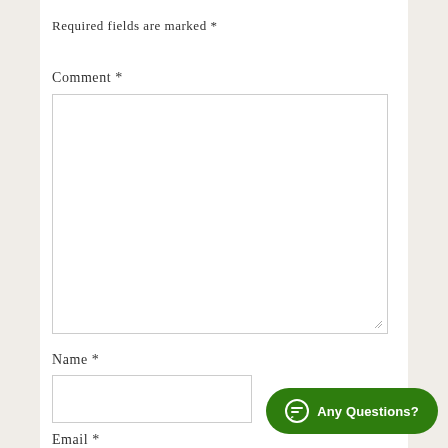Required fields are marked *
Comment *
[Figure (screenshot): Comment textarea input box with resize handle]
Name *
[Figure (screenshot): Name text input field]
Email *
[Figure (other): Green rounded chat button with speech bubble icon and text 'Any Questions?']